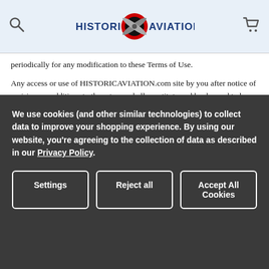Historic Aviation logo header with search and cart icons
periodically for any modification to these Terms of Use.
Any access or use of HISTORICAVIATION.com site by you after notice of revisions or additions to these terms shall constitute and be deemed to be your agreement to such revisions or additions.
Prices and Orders: HISTORICAVIATION.com will add shipping and handling fees and applicable sales/use tax. HISTORICAVIATION.com reserves the right without prior notice to discontinue or change specifications and prices on products offered on HISTORICAVIATION.com. Products displayed on
We use cookies (and other similar technologies) to collect data to improve your shopping experience. By using our website, you're agreeing to the collection of data as described in our Privacy Policy.
Settings | Reject all | Accept All Cookies